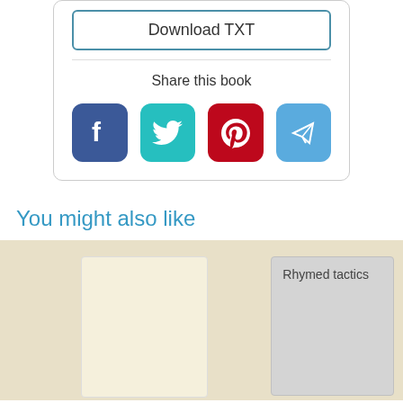Download TXT
Share this book
[Figure (illustration): Four social media share icons: Facebook (blue), Twitter (teal), Pinterest (red), Telegram (light blue)]
You might also like
[Figure (illustration): Two book covers on a beige background. Left: blank cream-colored book. Right: gray book titled 'Rhymed tactics']